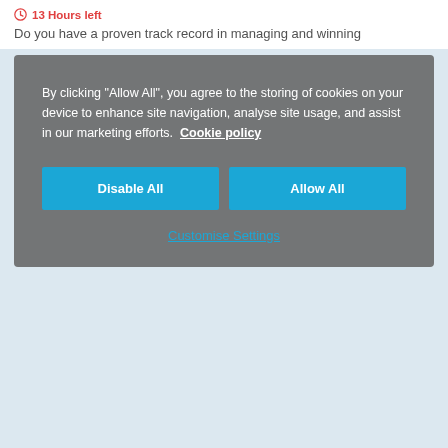13 Hours left
Do you have a proven track record in managing and winning
[Figure (screenshot): Cookie consent modal overlay with grey background. Text reads: By clicking "Allow All", you agree to the storing of cookies on your device to enhance site navigation, analyse site usage, and assist in our marketing efforts. Cookie policy. Two blue buttons: Disable All and Allow All. Below them a link: Customise Settings.]
Risk Management - Customer Advisor - Reading
13 Days left
Risk Management Customer AdvisorReading Hybrid (office based training and required to go in to the officeonce a week to start with which could increase)LENGTH OF...
Reading, Berkshire
£12.90 per Hour